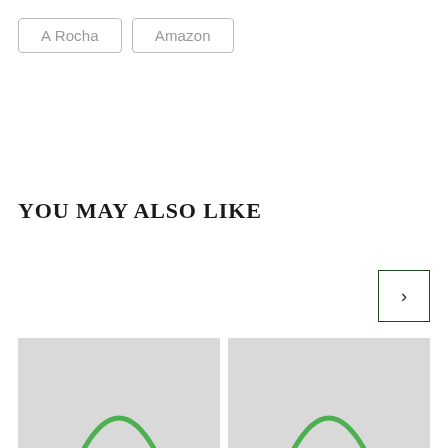A Rocha
Amazon
YOU MAY ALSO LIKE
[Figure (other): Navigation next arrow button, square bordered with dark green outline, containing a right-pointing chevron/arrow symbol]
[Figure (other): Product card placeholder image with light gray background and partial green circle/arc at bottom center]
[Figure (other): Product card placeholder image with light gray background and partial green circle/arc at bottom center]